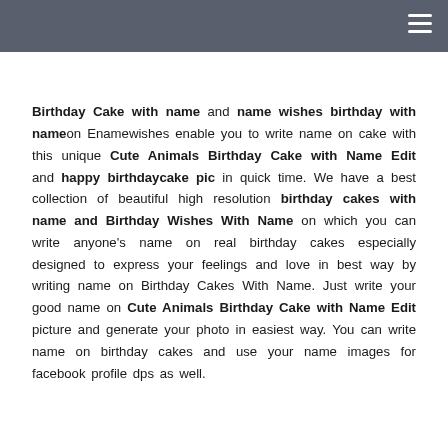Birthday Cake with name and name wishes birthday with name on Enamewishes enable you to write name on cake with this unique Cute Animals Birthday Cake with Name Edit and happy birthdaycake pic in quick time. We have a best collection of beautiful high resolution birthday cakes with name and Birthday Wishes With Name on which you can write anyone's name on real birthday cakes especially designed to express your feelings and love in best way by writing name on Birthday Cakes With Name. Just write your good name on Cute Animals Birthday Cake with Name Edit picture and generate your photo in easiest way. You can write name on birthday cakes and use your name images for facebook profile dps as well.